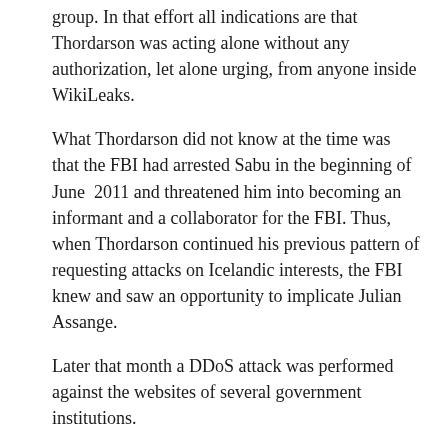group. In that effort all indications are that Thordarson was acting alone without any authorization, let alone urging, from anyone inside WikiLeaks.
What Thordarson did not know at the time was that the FBI had arrested Sabu in the beginning of June 2011 and threatened him into becoming an informant and a collaborator for the FBI. Thus, when Thordarson continued his previous pattern of requesting attacks on Icelandic interests, the FBI knew and saw an opportunity to implicate Julian Assange.
Later that month a DDoS attack was performed against the websites of several government institutions.
That deed was done under the watchful eyes of the FBI who must have authorized the attack or even initiated it, as Sabu was at that point their man. What followed was an episode where it seems obvious that Icelandic authorities were fooled into cooperation under false pretenses.
Ögmundur Jónasson was minister of interior at time and as